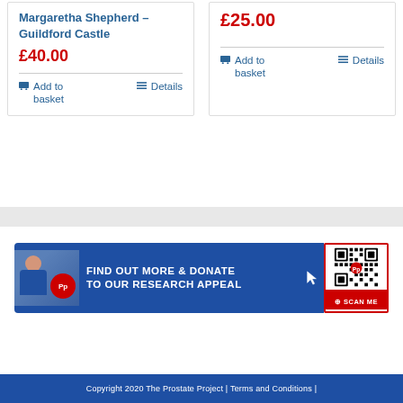Margaretha Shepherd – Guildford Castle
£40.00
Add to basket  Details
£25.00
Add to basket  Details
[Figure (infographic): Prostate Project banner with researcher photo, Pp logo, text FIND OUT MORE & DONATE TO OUR RESEARCH APPEAL, and QR code with SCAN ME label]
Copyright 2020 The Prostate Project | Terms and Conditions |